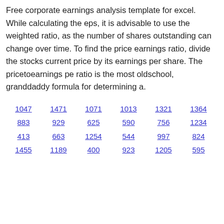Free corporate earnings analysis template for excel. While calculating the eps, it is advisable to use the weighted ratio, as the number of shares outstanding can change over time. To find the price earnings ratio, divide the stocks current price by its earnings per share. The pricetoearnings pe ratio is the most oldschool, granddaddy formula for determining a.
1047   1471   1071   1013   1321   1364
883   929   625   590   756   1234
413   663   1254   544   997   824
1455   1189   400   923   1205   595